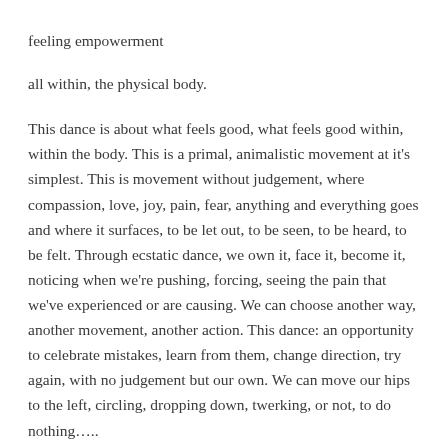feeling empowerment
all within, the physical body.
This dance is about what feels good, what feels good within, within the body. This is a primal, animalistic movement at it's simplest. This is movement without judgement, where compassion, love, joy, pain, fear, anything and everything goes and where it surfaces, to be let out, to be seen, to be heard, to be felt. Through ecstatic dance, we own it, face it, become it, noticing when we're pushing, forcing, seeing the pain that we've experienced or are causing. We can choose another way, another movement, another action. This dance: an opportunity to celebrate mistakes, learn from them, change direction, try again, with no judgement but our own. We can move our hips to the left, circling, dropping down, twerking, or not, to do nothing….. Maybe it's a stomp of the feet, over and over and over and over again!!! Maybe it's a slap of the thigh or the wall, or a caress of